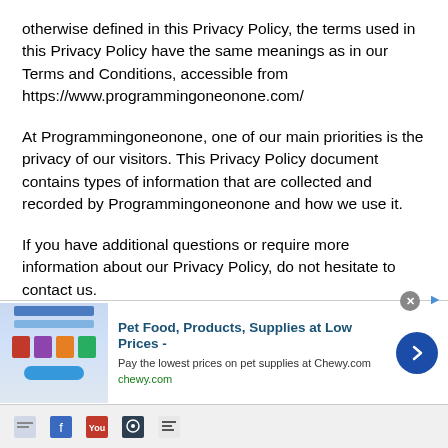otherwise defined in this Privacy Policy, the terms used in this Privacy Policy have the same meanings as in our Terms and Conditions, accessible from https://www.programmingoneonone.com/
At Programmingoneonone, one of our main priorities is the privacy of our visitors. This Privacy Policy document contains types of information that are collected and recorded by Programmingoneonone and how we use it.
If you have additional questions or require more information about our Privacy Policy, do not hesitate to contact us.
This Privacy Policy applies only to our online activities
[Figure (screenshot): Advertisement banner for Chewy.com pet supplies. Shows store image on left, ad title 'Pet Food, Products, Supplies at Low Prices -', description 'Pay the lowest prices on pet supplies at Chewy.com', URL 'chewy.com', blue arrow circle button on right, close X button top right.]